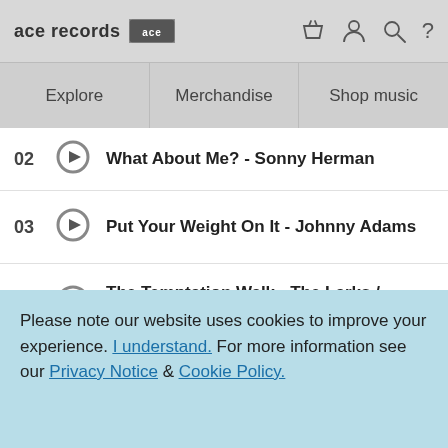ace records [logo badge]
Explore
Merchandise
Shop music
02 What About Me? - Sonny Herman
03 Put Your Weight On It - Johnny Adams
04 The Temptation Walk - The Larks / Pretenders
05 The Phillie - The M&M's & The Peanuts
Please note our website uses cookies to improve your experience. I understand. For more information see our Privacy Notice & Cookie Policy.